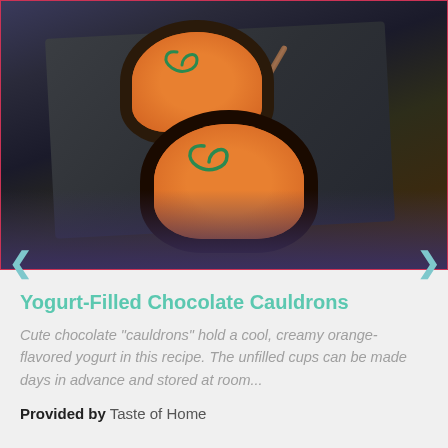[Figure (photo): Chocolate cauldron cups filled with orange-colored yogurt and green swirl decoration, displayed on a dark slate board with a stick/skewer prop]
Yogurt-Filled Chocolate Cauldrons
Cute chocolate "cauldrons" hold a cool, creamy orange-flavored yogurt in this recipe. The unfilled cups can be made days in advance and stored at room...
Provided by Taste of Home